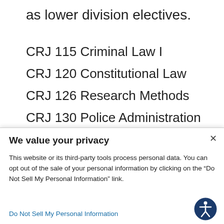as lower division electives.
CRJ 115 Criminal Law I
CRJ 120 Constitutional Law
CRJ 126 Research Methods
CRJ 130 Police Administration
CRJ 202 Criminalistics
We value your privacy
This website or its third-party tools process personal data. You can opt out of the sale of your personal information by clicking on the “Do Not Sell My Personal Information” link.
Do Not Sell My Personal Information